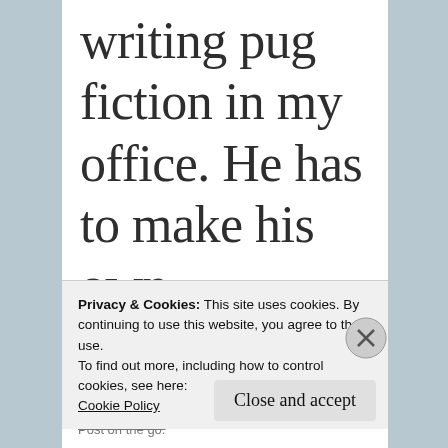writing pug fiction in my office. He has to make his own entertainment. So there I was, feverishly typing a
Privacy & Cookies: This site uses cookies. By continuing to use this website, you agree to their use.
To find out more, including how to control cookies, see here:
Cookie Policy
Close and accept
Post on the go.